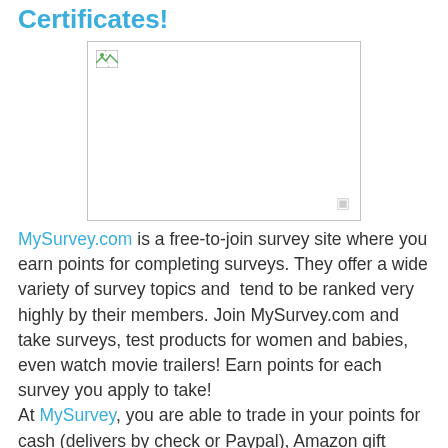Certificates!
[Figure (illustration): Broken/missing image placeholder with a small broken image icon in the top-left corner and a small icon in the bottom-right corner. The image box has a light gray border on a white background.]
MySurvey.com is a free-to-join survey site where you earn points for completing surveys. They offer a wide variety of survey topics and  tend to be ranked very highly by their members. Join MySurvey.com and take surveys, test products for women and babies, even watch movie trailers! Earn points for each survey you apply to take! At MySurvey, you are able to trade in your points for cash (delivers by check or Paypal), Amazon gift certificates,